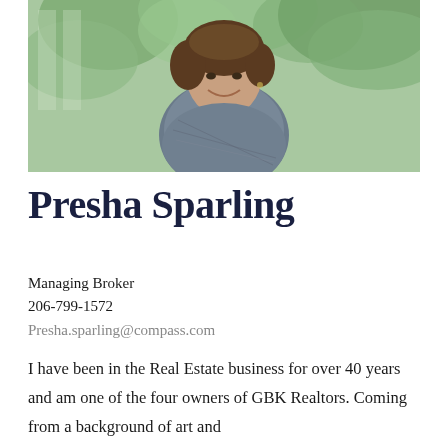[Figure (photo): Professional headshot of Presha Sparling, a woman with curly dark hair, smiling, wearing a grey tweed top, with green foliage in the background.]
Presha Sparling
Managing Broker
206-799-1572
Presha.sparling@compass.com
I have been in the Real Estate business for over 40 years and am one of the four owners of GBK Realtors. Coming from a background of art and